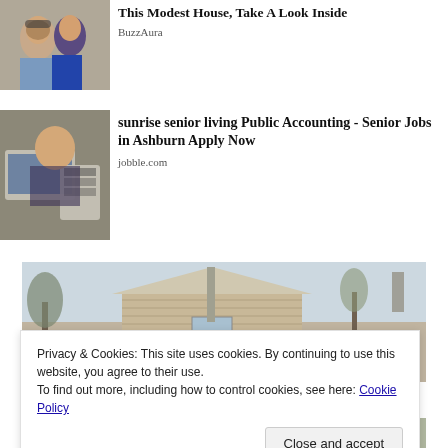[Figure (photo): Two people smiling outdoors, man in blue shirt and woman in blue dress with sunglasses]
This Modest House, Take A Look Inside
BuzzAura
[Figure (photo): Person working at desk with laptop, calculator, and papers]
sunrise senior living Public Accounting - Senior Jobs in Ashburn Apply Now
jobble.com
[Figure (photo): Exterior of a modest house with horizontal siding and bare trees]
Privacy & Cookies: This site uses cookies. By continuing to use this website, you agree to their use.
To find out more, including how to control cookies, see here: Cookie Policy
Close and accept
[Figure (photo): Bottom strip showing outdoor garden/yard scenes]